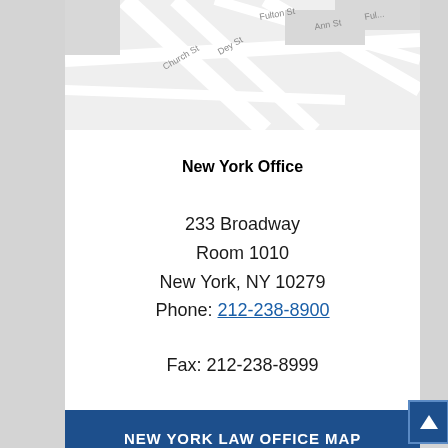[Figure (map): Street map showing area near 233 Broadway, New York, with street labels including Ann St, Dey St, Church St]
New York Office
233 Broadway
Room 1010
New York, NY 10279
Phone: 212-238-8900
Fax: 212-238-8999
NEW YORK LAW OFFICE MAP